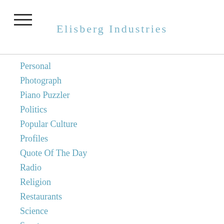Elisberg Industries
Personal
Photograph
Piano Puzzler
Politics
Popular Culture
Profiles
Quote Of The Day
Radio
Religion
Restaurants
Science
Sports
Technology
Tech Tip
Theater
The Writers Workbench
Tidbits